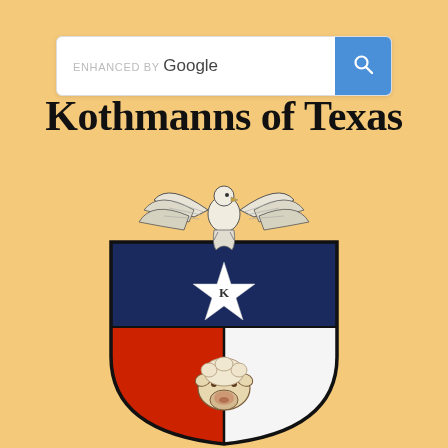[Figure (screenshot): Google enhanced search bar with search button]
Kothmanns of Texas
[Figure (logo): Coat of arms / heraldic crest featuring an eagle on top, a shield divided into navy blue upper half with white star containing 'K', and lower half split red left and white right with a goat/sheep head in center]